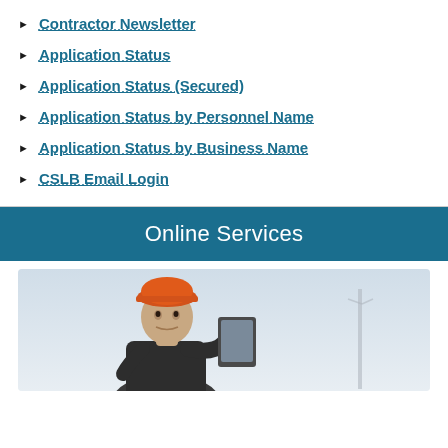Contractor Newsletter
Application Status
Application Status (Secured)
Application Status by Personnel Name
Application Status by Business Name
CSLB Email Login
Online Services
[Figure (photo): A construction worker wearing an orange hard hat holding a tablet, looking upward, with a light blue sky background]